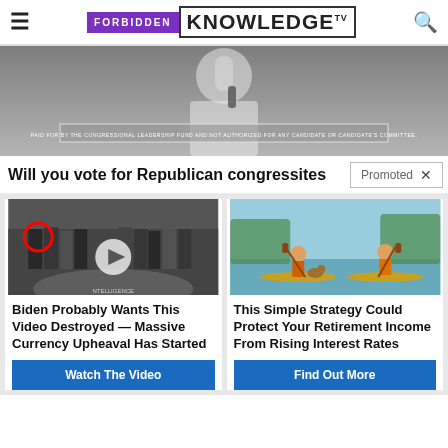Forbidden Knowledge TV
[Figure (photo): Man in white shirt holding microphone raised fist, with disclaimer text at bottom]
Will you vote for Republican congressi... [Promoted ×] tes
[Figure (photo): Group photo at CIA with red circle highlighting one person, play button overlay]
[Figure (illustration): Two people on paddleboards with dog, cartoon illustration]
Biden Probably Wants This Video Destroyed — Massive Currency Upheaval Has Started
Watch The Video
This Simple Strategy Could Protect Your Retirement Income From Rising Interest Rates
Find Out More